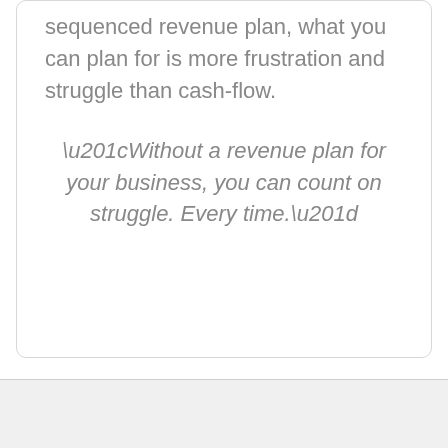sequenced revenue plan, what you can plan for is more frustration and struggle than cash-flow.
“Without a revenue plan for your business, you can count on struggle. Every time.”